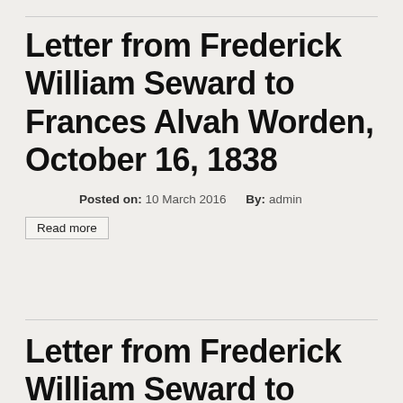Letter from Frederick William Seward to Frances Alvah Worden, October 16, 1838
Posted on: 10 March 2016   By: admin
Read more
Letter from Frederick William Seward to